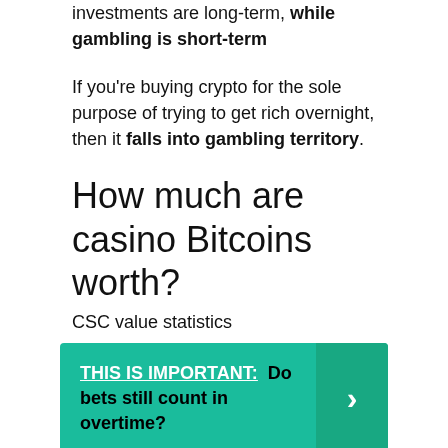investments are long-term, while gambling is short-term
If you're buying crypto for the sole purpose of trying to get rich overnight, then it falls into gambling territory.
How much are casino Bitcoins worth?
CSC value statistics
THIS IS IMPORTANT:  Do bets still count in overtime?
| Price to USD | $ 0.00311 |
| --- | --- |